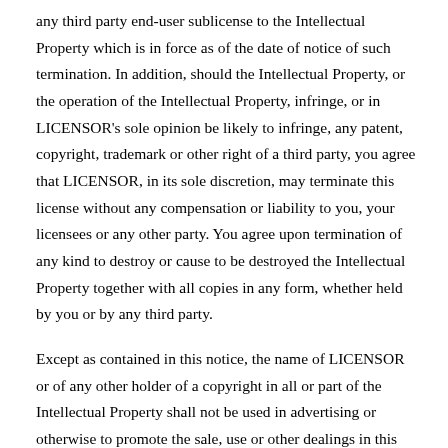any third party end-user sublicense to the Intellectual Property which is in force as of the date of notice of such termination. In addition, should the Intellectual Property, or the operation of the Intellectual Property, infringe, or in LICENSOR's sole opinion be likely to infringe, any patent, copyright, trademark or other right of a third party, you agree that LICENSOR, in its sole discretion, may terminate this license without any compensation or liability to you, your licensees or any other party. You agree upon termination of any kind to destroy or cause to be destroyed the Intellectual Property together with all copies in any form, whether held by you or by any third party.
Except as contained in this notice, the name of LICENSOR or of any other holder of a copyright in all or part of the Intellectual Property shall not be used in advertising or otherwise to promote the sale, use or other dealings in this Intellectual